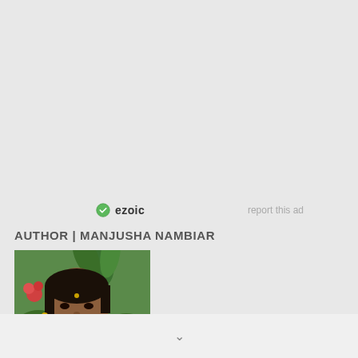[Figure (other): Ezoic advertisement area placeholder (gray background)]
ezoic   report this ad
AUTHOR | MANJUSHA NAMBIAR
[Figure (photo): Portrait photo of Manjusha Nambiar against a green garden background with pink flowers]